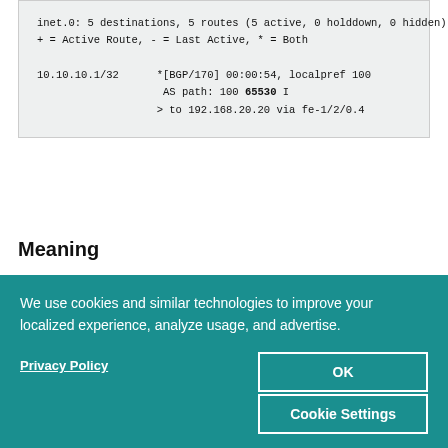[Figure (screenshot): Terminal/CLI output box showing BGP routing table: inet.0: 5 destinations, 5 routes (5 active, 0 holddown, 0 hidden). + = Active Route, - = Last Active, * = Both. 10.10.10.1/32  *[BGP/170] 00:00:54, localpref 100  AS path: 100 65530 I  > to 192.168.20.20 via fe-1/2/0.4]
Meaning
We use cookies and similar technologies to improve your localized experience, analyze usage, and advertise.
Privacy Policy
OK
Cookie Settings